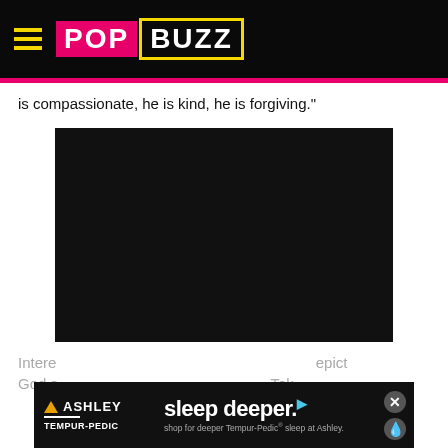PopBuzz
is compassionate, he is kind, he is forgiving."
[Figure (photo): Embedded video player — black rectangle, content not visible]
Intere... epict God s... Tok
[Figure (other): Ashley / Tempur-Pedic advertisement banner: 'sleep deeper.' with play arrow superscript, subtext: shop for deeper Tempur-Pedic® sleep at Ashley.]